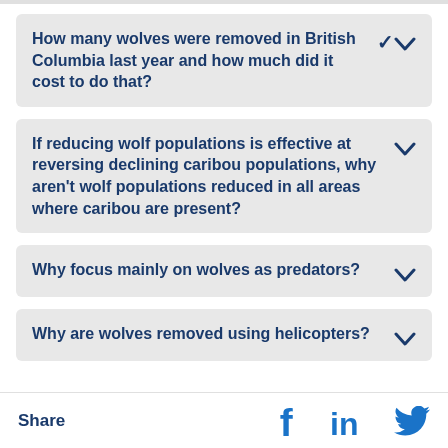How many wolves were removed in British Columbia last year and how much did it cost to do that?
If reducing wolf populations is effective at reversing declining caribou populations, why aren't wolf populations reduced in all areas where caribou are present?
Why focus mainly on wolves as predators?
Why are wolves removed using helicopters?
Share